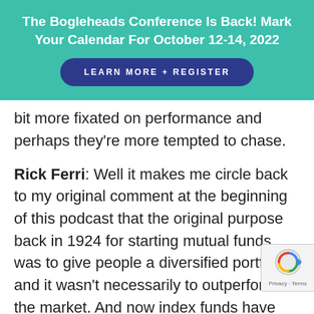The Bogleheads Conference Is Back! Mark Your Calendar For October 12-14, 2022
LEARN MORE + REGISTER
bit more fixated on performance and perhaps they're more tempted to chase.
Rick Ferri: Well it makes me circle back to my original comment at the beginning of this podcast that the original purpose back in 1924 for starting mutual funds was to give people a diversified portfolio and it wasn't necessarily to outperform the market. And now index funds have become a better mousetrap and made active funds obsolete.